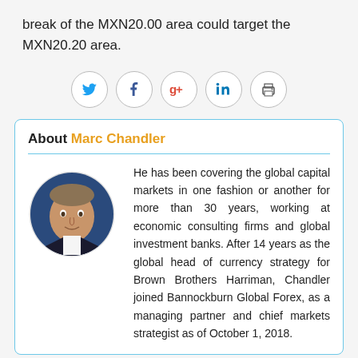break of the MXN20.00 area could target the MXN20.20 area.
[Figure (infographic): Social sharing icons: Twitter, Facebook, Google+, LinkedIn, Print — each in a circular bordered button]
About Marc Chandler
[Figure (photo): Circular headshot photo of Marc Chandler, a man in a dark suit with a red tie, blue background]
He has been covering the global capital markets in one fashion or another for more than 30 years, working at economic consulting firms and global investment banks. After 14 years as the global head of currency strategy for Brown Brothers Harriman, Chandler joined Bannockburn Global Forex, as a managing partner and chief markets strategist as of October 1, 2018.